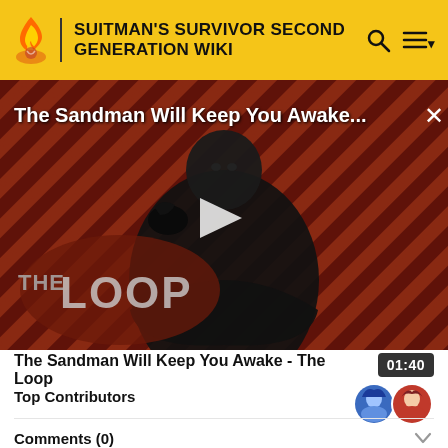SUITMAN'S SURVIVOR SECOND GENERATION WIKI
[Figure (screenshot): Video thumbnail for 'The Sandman Will Keep You Awake - The Loop' showing a figure in black against a diagonal striped red/brown background with 'THE LOOP' logo overlay and a play button in the center]
The Sandman Will Keep You Awake - The Loop
01:40
Top Contributors
Comments (0)